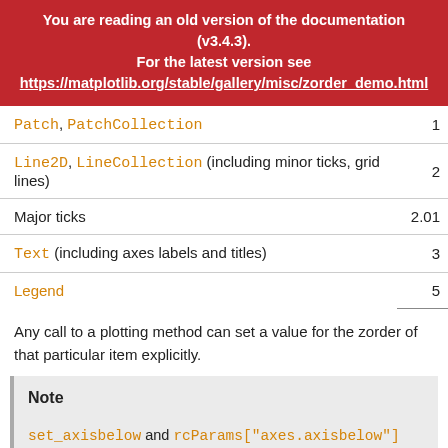You are reading an old version of the documentation (v3.4.3). For the latest version see https://matplotlib.org/stable/gallery/misc/zorder_demo.html
| Artist | zorder |
| --- | --- |
| Patch, PatchCollection | 1 |
| Line2D, LineCollection (including minor ticks, grid lines) | 2 |
| Major ticks | 2.01 |
| Text (including axes labels and titles) | 3 |
| Legend | 5 |
Any call to a plotting method can set a value for the zorder of that particular item explicitly.
Note
set_axisbelow and rcParams["axes.axisbelow"] (default: 'line') are convenient helpers for setting the zorder of ticks and grid lines.
Drawing is done per Axes at a time. If you have overlapping Axes, all elements of the second Axes are drawn on top of the first Axes,